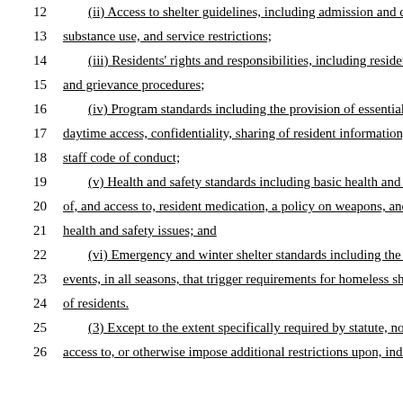12    (ii) Access to shelter guidelines, including admission and disc...
13    substance use, and service restrictions;
14    (iii) Residents' rights and responsibilities, including resident ir...
15    and grievance procedures;
16    (iv) Program standards including the provision of essential ser...
17    daytime access, confidentiality, sharing of resident information, s...
18    staff code of conduct;
19    (v) Health and safety standards including basic health and safe...
20    of, and access to, resident medication, a policy on weapons, and r...
21    health and safety issues; and
22    (vi) Emergency and winter shelter standards including the defi...
23    events, in all seasons, that trigger requirements for homeless shelt...
24    of residents.
25    (3) Except to the extent specifically required by statute, no she...
26    access to, or otherwise impose additional restrictions upon, indivi...